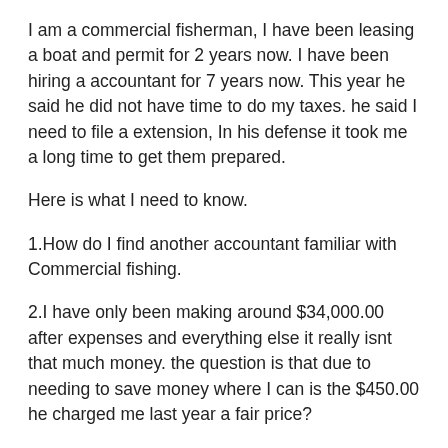I am a commercial fisherman, I have been leasing a boat and permit for 2 years now. I have been hiring a accountant for 7 years now. This year he said he did not have time to do my taxes. he said I need to file a extension, In his defense it took me a long time to get them prepared.
Here is what I need to know.
1.How do I find another accountant familiar with Commercial fishing.
2.I have only been making around $34,000.00 after expenses and everything else it really isnt that much money. the question is that due to needing to save money where I can is the $450.00 he charged me last year a fair price?
3.I filed 10-99's for some of my employees but I